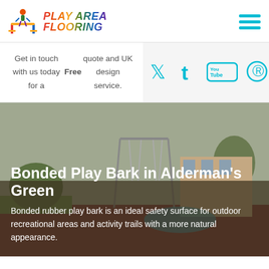[Figure (logo): Play Area Flooring logo with colorful playground icon and gradient rainbow text]
[Figure (other): Hamburger menu icon with three cyan horizontal bars]
Get in touch with us today for a Free quote and UK design service.
[Figure (other): Social media icons: Twitter bird, Tumblr t, YouTube, Pinterest — all in cyan color on light grey background]
Bonded Play Bark in Alderman's Green
Bonded rubber play bark is an ideal safety surface for outdoor recreational areas and activity trails with a more natural appearance.